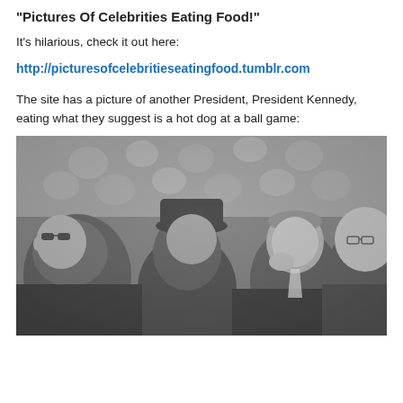"Pictures Of Celebrities Eating Food!"
It's hilarious, check it out here:
http://picturesofcelebritieseatingfood.tumblr.com
The site has a picture of another President, President Kennedy, eating what they suggest is a hot dog at a ball game:
[Figure (photo): Black and white photograph of President Kennedy in a crowd at a baseball game, surrounded by men in suits, with Kennedy appearing to eat something.]